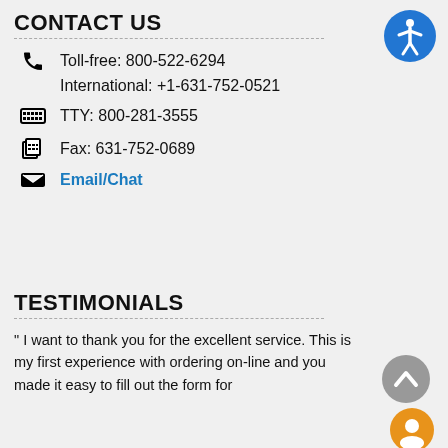CONTACT US
Toll-free: 800-522-6294
International: +1-631-752-0521
TTY: 800-281-3555
Fax: 631-752-0689
Email/Chat
TESTIMONIALS
" I want to thank you for the excellent service. This is my first experience with ordering on-line and you made it easy to fill out the form for